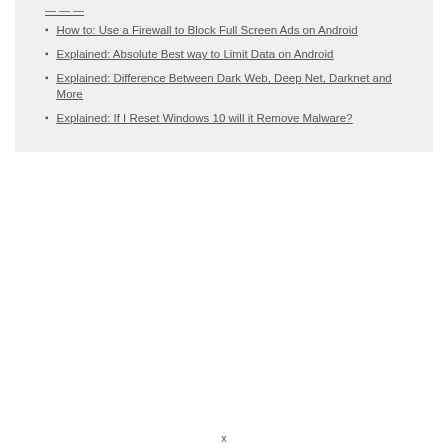How to: Use a Firewall to Block Full Screen Ads on Android
Explained: Absolute Best way to Limit Data on Android
Explained: Difference Between Dark Web, Deep Net, Darknet and More
Explained: If I Reset Windows 10 will it Remove Malware?
x